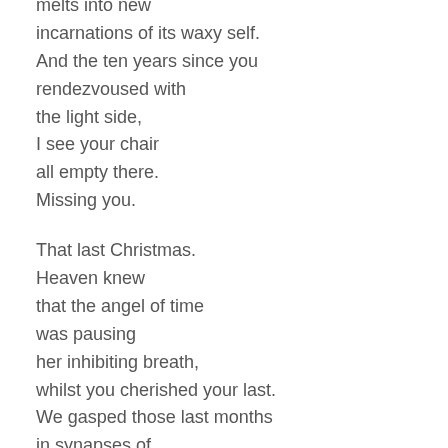melts into new
incarnations of its waxy self.
And the ten years since you
rendezvoused with
the light side,
I see your chair
all empty there.
Missing you.

That last Christmas.
Heaven knew
that the angel of time
was pausing
her inhibiting breath,
whilst you cherished your last.
We gasped those last months
in synapses of